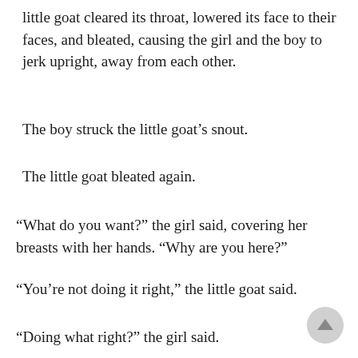little goat cleared its throat, lowered its face to their faces, and bleated, causing the girl and the boy to jerk upright, away from each other.
The boy struck the little goat’s snout.
The little goat bleated again.
“What do you want?” the girl said, covering her breasts with her hands. “Why are you here?”
“You’re not doing it right,” the little goat said.
“Doing what right?” the girl said.